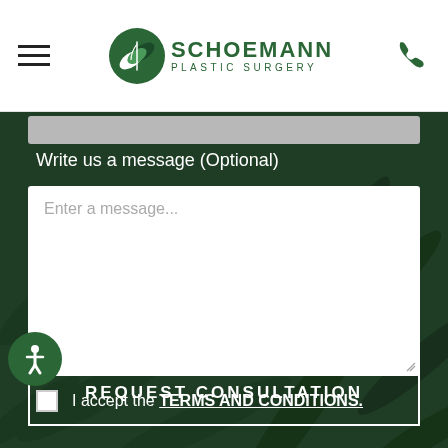[Figure (logo): Schoemann Plastic Surgery logo with green leaf icon and text]
Write us a message (Optional)
Enter a message...
I accept the TERMS AND CONDITIONS.
REQUEST CONSULTATION